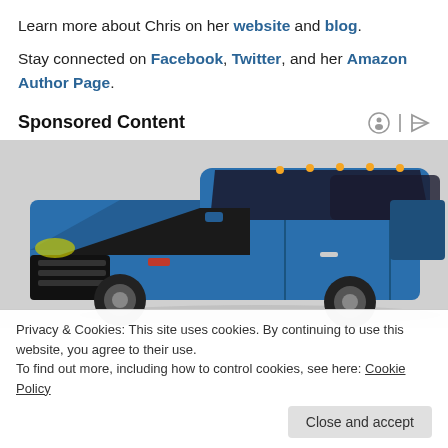Learn more about Chris on her website and blog.
Stay connected on Facebook, Twitter, and her Amazon Author Page.
Sponsored Content
[Figure (photo): A blue pickup truck (Dodge Ram style) viewed from a front-left angle, on a gray background.]
Privacy & Cookies: This site uses cookies. By continuing to use this website, you agree to their use. To find out more, including how to control cookies, see here: Cookie Policy
Close and accept